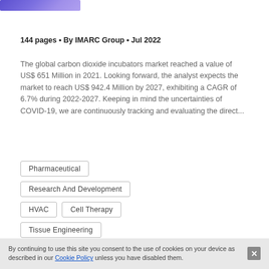[Figure (photo): Small thumbnail image with purple/blue gradient background and a small icon]
144 pages • By IMARC Group • Jul 2022
The global carbon dioxide incubators market reached a value of US$ 651 Million in 2021. Looking forward, the analyst expects the market to reach US$ 942.4 Million by 2027, exhibiting a CAGR of 6.7% during 2022-2027. Keeping in mind the uncertainties of COVID-19, we are continuously tracking and evaluating the direct...
Pharmaceutical
Research And Development
HVAC
Cell Therapy
Tissue Engineering
By continuing to use this site you consent to the use of cookies on your device as described in our Cookie Policy unless you have disabled them.